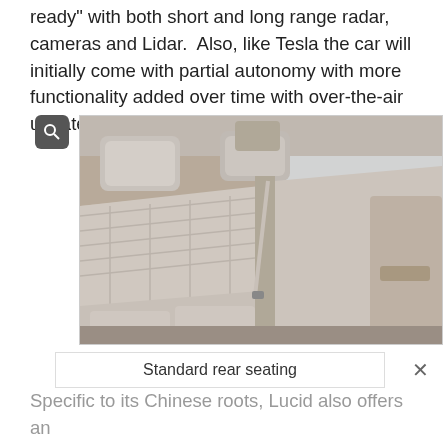ready" with both short and long range radar, cameras and Lidar.  Also, like Tesla the car will initially come with partial autonomy with more functionality added over time with over-the-air updates.
[Figure (photo): Photo of a car interior showing luxurious white/cream leather rear seating with quilted texture, headrests, seat belts, and door panel visible.]
Standard rear seating
Specific to its Chinese roots, Lucid also offers an